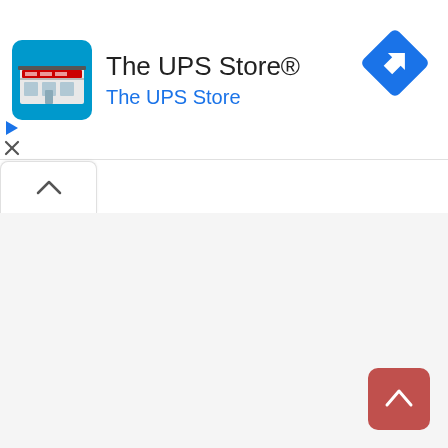[Figure (logo): The UPS Store logo icon — a storefront illustration on a blue background]
The UPS Store®
The UPS Store
[Figure (other): Blue diamond-shaped navigation/directions icon with a right-turn arrow]
[Figure (other): Small play/right-arrow icon in blue]
[Figure (other): Close (X) icon]
[Figure (other): Collapse/up-chevron tab button]
[Figure (other): Map area (blank/white background)]
[Figure (other): Red rounded back-to-top button with upward chevron]